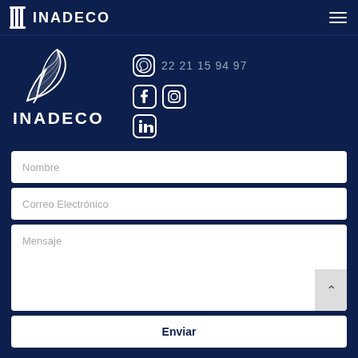INADECO
[Figure (logo): INADECO logo with feather/quill icon and text INADECO, phone number 22 21 15 94 97 with WhatsApp icon, social media icons for Facebook, Instagram, LinkedIn]
Nombre
Correo Electrónico
Mensaje
Enviar